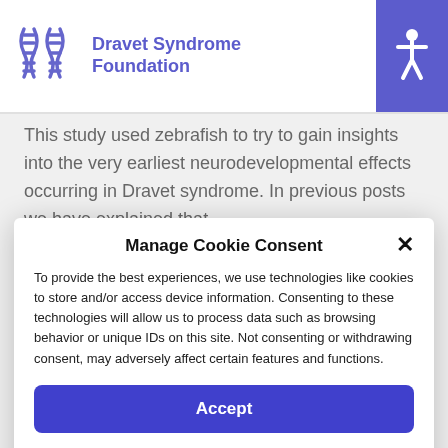Dravet Syndrome Foundation
This study used zebrafish to try to gain insights into the very earliest neurodevelopmental effects occurring in Dravet syndrome. In previous posts we have explained that
Manage Cookie Consent
To provide the best experiences, we use technologies like cookies to store and/or access device information. Consenting to these technologies will allow us to process data such as browsing behavior or unique IDs on this site. Not consenting or withdrawing consent, may adversely affect certain features and functions.
Accept
Cookie Policy  Privacy Statement  Imprint